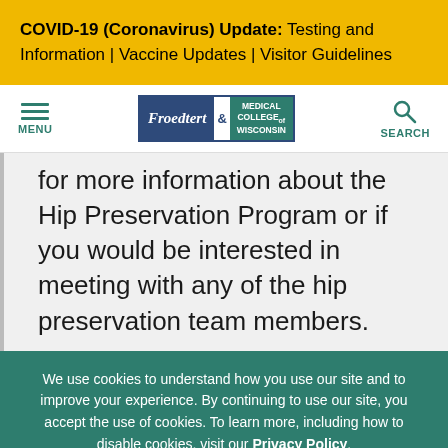COVID-19 (Coronavirus) Update: Testing and Information | Vaccine Updates | Visitor Guidelines
[Figure (logo): Froedtert & Medical College of Wisconsin logo with navigation menu icon and search icon]
for more information about the Hip Preservation Program or if you would be interested in meeting with any of the hip preservation team members.
We use cookies to understand how you use our site and to improve your experience. By continuing to use our site, you accept the use of cookies. To learn more, including how to disable cookies, visit our Privacy Policy.
Close